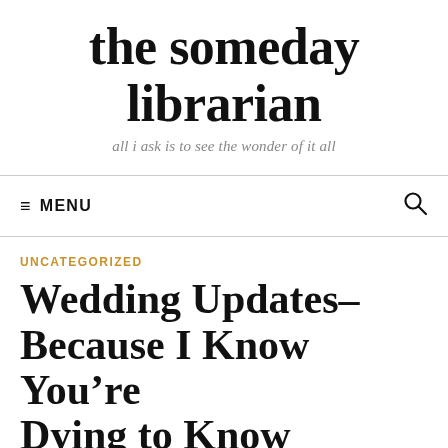the someday librarian
all i ask is to see the wonder of it all
≡ MENU
UNCATEGORIZED
Wedding Updates– Because I Know You're Dying to Know